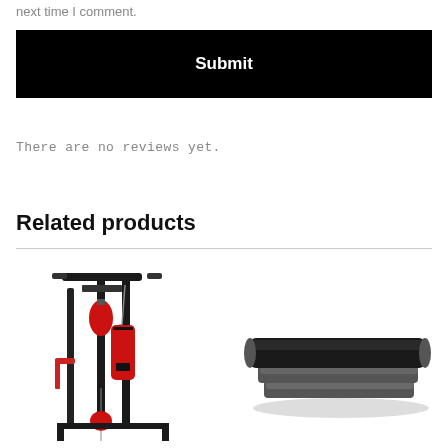next time I comment.
Submit
There are no reviews yet.
Related products
[Figure (photo): A multi-function home gym boxing station with pull-up bar, punching bag, speed bag, and double-end bag in black and red.]
[Figure (photo): A black aerobic step platform with two risers.]